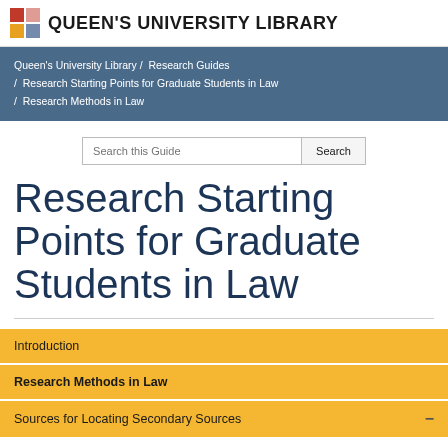QUEEN'S UNIVERSITY LIBRARY
Queen's University Library / Research Guides / Research Starting Points for Graduate Students in Law / Research Methods in Law
Research Starting Points for Graduate Students in Law
Introduction
Research Methods in Law
Sources for Locating Secondary Sources